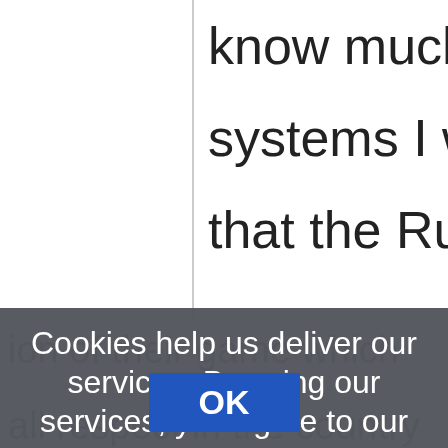know much at all about w systems I will admit, I jus that the Russians seem t
Cookies help us deliver our services. By using our services, you agree to our use of cookies. Learn more
[Figure (screenshot): OK button within cookie consent dialog overlay]